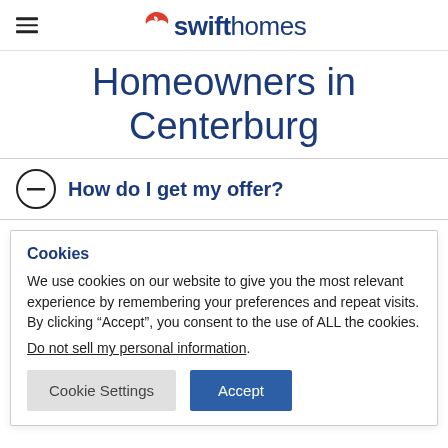swifthomes
Homeowners in Centerburg
How do I get my offer?
Cookies
We use cookies on our website to give you the most relevant experience by remembering your preferences and repeat visits. By clicking “Accept”, you consent to the use of ALL the cookies.
Do not sell my personal information.